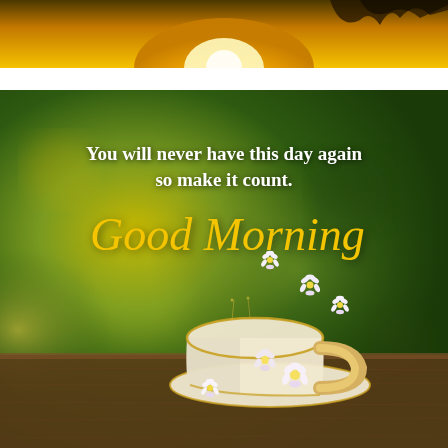[Figure (photo): Top portion of a sunrise/golden light scene, partially cropped at the top of the page]
[Figure (photo): Motivational Good Morning card image with blurred green and yellow bokeh background, a decorative teacup with white flowers on a wooden surface, and text overlay reading: 'You will never have this day again so make it count. Good Morning']